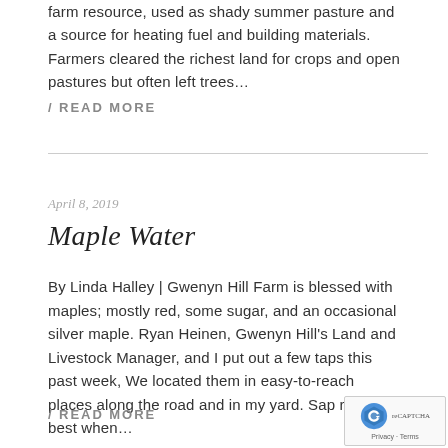farm resource, used as shady summer pasture and a source for heating fuel and building materials. Farmers cleared the richest land for crops and open pastures but often left trees…
/ READ MORE
April 8, 2019
Maple Water
By Linda Halley | Gwenyn Hill Farm is blessed with maples; mostly red, some sugar, and an occasional silver maple. Ryan Heinen, Gwenyn Hill's Land and Livestock Manager, and I put out a few taps this past week, We located them in easy-to-reach places along the road and in my yard. Sap runs best when…
/ READ MORE